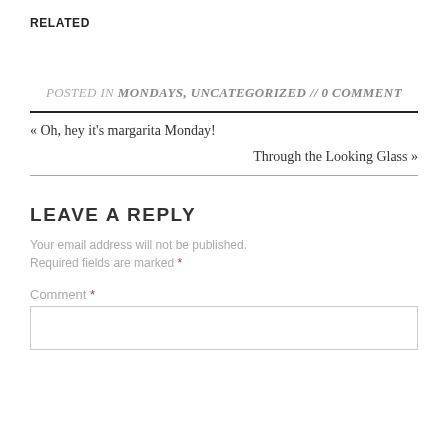RELATED
POSTED IN MONDAYS, UNCATEGORIZED // 0 COMMENT
« Oh, hey it's margarita Monday!
Through the Looking Glass »
LEAVE A REPLY
Your email address will not be published. Required fields are marked *
Comment *